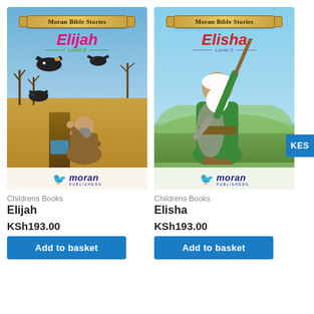[Figure (illustration): Book cover: Moran Bible Stories - Elijah, Level 3. Shows a man in desert receiving food from ravens, with dry trees and cracked earth in background. Moran Publishers logo at bottom.]
Childrens Books
Elijah
KSh193.00
Add to basket
[Figure (illustration): Book cover: Moran Bible Stories - Elisha, Level 3. Shows an elderly bearded man in robes raising a staff, with green hills in background. KES badge on right. Moran Publishers logo at bottom.]
Childrens Books
Elisha
KSh193.00
Add to basket